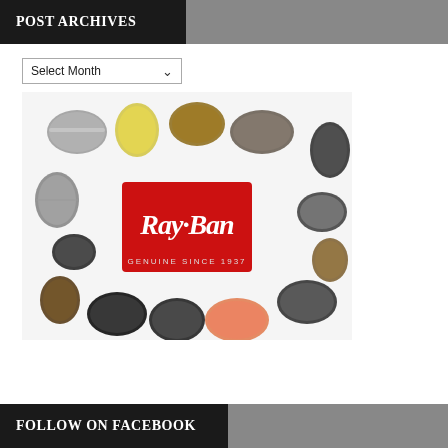POST ARCHIVES
Select Month
[Figure (photo): Ray-Ban sunglasses advertisement showing multiple pairs of sunglasses arranged in a circle around the Ray-Ban logo with text 'GENUINE SINCE 1937']
FOLLOW ON FACEBOOK